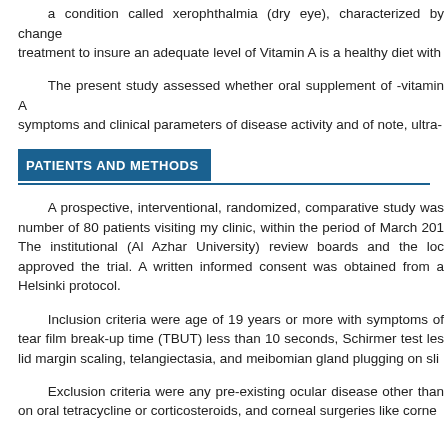a condition called xerophthalmia (dry eye), characterized by change... treatment to insure an adequate level of Vitamin A is a healthy diet with...
The present study assessed whether oral supplement of -vitamin A... symptoms and clinical parameters of disease activity and of note, ultra-...
PATIENTS AND METHODS
A prospective, interventional, randomized, comparative study was... number of 80 patients visiting my clinic, within the period of March 201... The institutional (Al Azhar University) review boards and the loc... approved the trial. A written informed consent was obtained from a... Helsinki protocol.
Inclusion criteria were age of 19 years or more with symptoms of... tear film break-up time (TBUT) less than 10 seconds, Schirmer test les... lid margin scaling, telangiectasia, and meibomian gland plugging on sli...
Exclusion criteria were any pre-existing ocular disease other than... on oral tetracycline or corticosteroids, and corneal surgeries like corne...